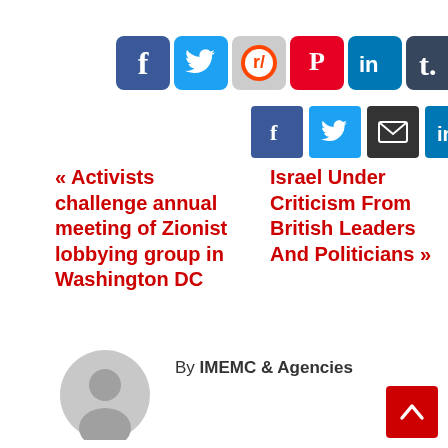[Figure (other): Two rows of social media sharing icons: Row 1 includes Facebook (blue), Twitter (light blue), Reddit (grey/orange), Pinterest (red), LinkedIn (blue), Tumblr (dark), Email (grey). Row 2 includes Facebook, Twitter, Email, LinkedIn, Telegram, Pinterest.]
« Activists challenge annual meeting of Zionist lobbying group in Washington DC
Israel Under Criticism From British Leaders And Politicians »
By IMEMC & Agencies